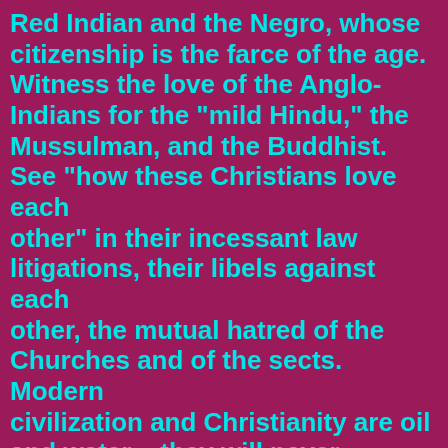Red Indian and the Negro, whose citizenship is the farce of the age. Witness the love of the Anglo-Indians for the "mild Hindu," the Mussulman, and the Buddhist. See "how these Christians love each other" in their incessant law litigations, their libels against each other, the mutual hatred of the Churches and of the sects. Modern civilization and Christianity are oil and water – they will never mix. Nations among which the most horrible crimes are daily perpetrated; nations which rejoice in Tropmanns and Jack the Rippers, in fiends like Mrs. Reeves the trader in baby slaughter –